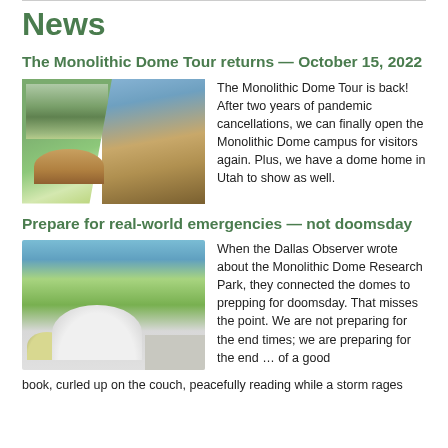News
The Monolithic Dome Tour returns — October 15, 2022
[Figure (photo): Split composite image: aerial view of dome campus on left, dome home exterior in landscape on right]
The Monolithic Dome Tour is back! After two years of pandemic cancellations, we can finally open the Monolithic Dome campus for visitors again. Plus, we have a dome home in Utah to show as well.
Prepare for real-world emergencies — not doomsday
[Figure (photo): Aerial photo of Monolithic Dome Research Park with large white dome structure and surrounding buildings and green fields]
When the Dallas Observer wrote about the Monolithic Dome Research Park, they connected the domes to prepping for doomsday. That misses the point. We are not preparing for the end times; we are preparing for the end … of a good book, curled up on the couch, peacefully reading while a storm rages